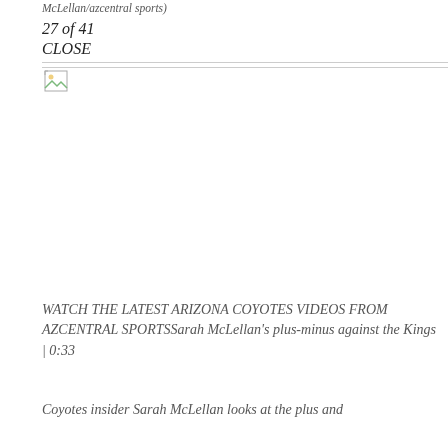McLellan/azcentral sports)
27 of 41
CLOSE
[Figure (photo): Broken/unavailable image placeholder icon in top-left corner of image area]
WATCH THE LATEST ARIZONA COYOTES VIDEOS FROM AZCENTRAL SPORTSSarah McLellan's plus-minus against the Kings | 0:33
Coyotes insider Sarah McLellan looks at the plus and